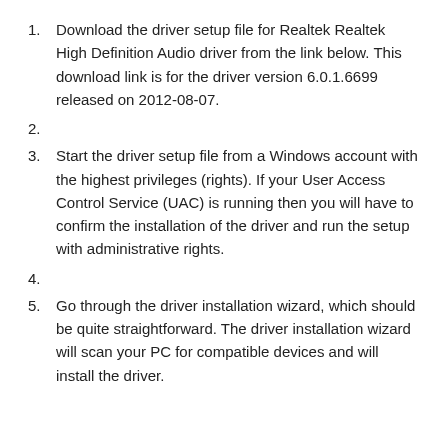1. Download the driver setup file for Realtek Realtek High Definition Audio driver from the link below. This download link is for the driver version 6.0.1.6699 released on 2012-08-07.
2.
3. Start the driver setup file from a Windows account with the highest privileges (rights). If your User Access Control Service (UAC) is running then you will have to confirm the installation of the driver and run the setup with administrative rights.
4.
5. Go through the driver installation wizard, which should be quite straightforward. The driver installation wizard will scan your PC for compatible devices and will install the driver.